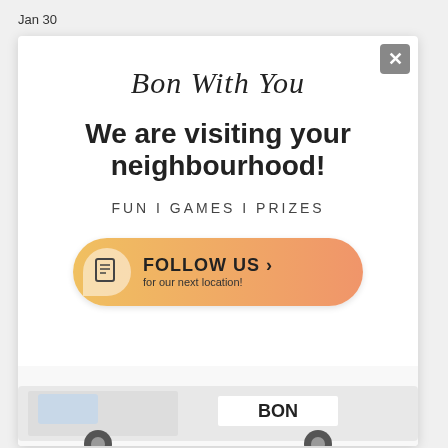Jan 30
Bon With You
We are visiting your neighbourhood!
FUN I GAMES I PRIZES
[Figure (infographic): Orange-gradient pill-shaped button with a document icon and text: FOLLOW US > for our next location!]
[Figure (photo): Bottom portion of a white branded van with BON logo visible]